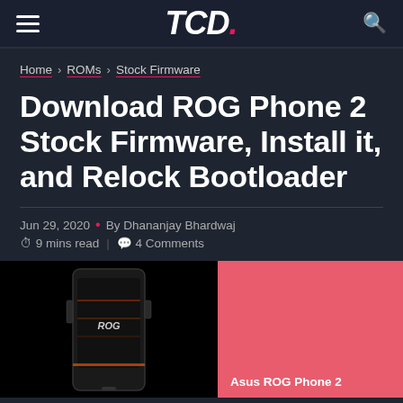TCD.
Home > ROMs > Stock Firmware
Download ROG Phone 2 Stock Firmware, Install it, and Relock Bootloader
Jun 29, 2020 • By Dhananjay Bhardwaj
9 mins read | 4 Comments
[Figure (photo): Asus ROG Phone 2 device photo on black background with pink/red overlay panel showing 'Asus ROG Phone 2' label]